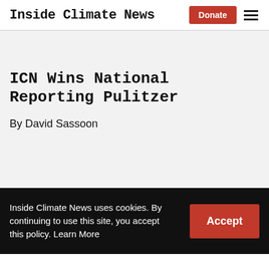Inside Climate News
ICN Wins National Reporting Pulitzer
By David Sassoon
Inside Climate News uses cookies. By continuing to use this site, you accept this policy. Learn More